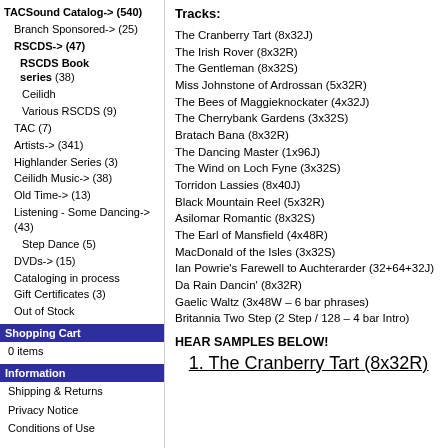TACSound Catalog-> (540)
Branch Sponsored-> (25)
RSCDS-> (47)
RSCDS Book series (38)
Ceilidh
Various RSCDS (9)
TAC (7)
Artists-> (341)
Highlander Series (3)
Ceilidh Music-> (38)
Old Time-> (13)
Listening - Some Dancing-> (43)
Step Dance (5)
DVDs-> (15)
Cataloging in process
Gift Certificates (3)
Out of Stock
Shopping Cart
0 items
Information
Shipping & Returns
Privacy Notice
Conditions of Use
Tracks:
The Cranberry Tart (8x32J)
The Irish Rover (8x32R)
The Gentleman (8x32S)
Miss Johnstone of Ardrossan (5x32R)
The Bees of Maggieknockater (4x32J)
The Cherrybank Gardens (3x32S)
Bratach Bana (8x32R)
The Dancing Master (1x96J)
The Wind on Loch Fyne (3x32S)
Torridon Lassies (8x40J)
Black Mountain Reel (5x32R)
Asilomar Romantic (8x32S)
The Earl of Mansfield (4x48R)
MacDonald of the Isles (3x32S)
Ian Powrie's Farewell to Auchterarder (32+64+32J)
Da Rain Dancin' (8x32R)
Gaelic Waltz (3x48W – 6 bar phrases)
Britannia Two Step (2 Step / 128 – 4 bar Intro)
HEAR SAMPLES BELOW!
1. The Cranberry Tart (8x32R)